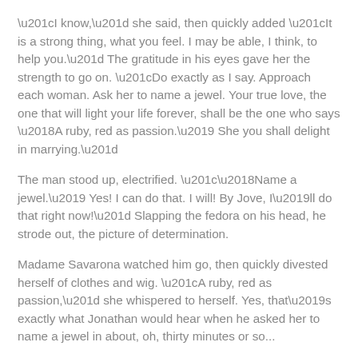“I know,” she said, then quickly added “It is a strong thing, what you feel. I may be able, I think, to help you.” The gratitude in his eyes gave her the strength to go on. “Do exactly as I say. Approach each woman. Ask her to name a jewel. Your true love, the one that will light your life forever, shall be the one who says ‘A ruby, red as passion.’ She you shall delight in marrying.”
The man stood up, electrified. “‘Name a jewel.’ Yes! I can do that. I will! By Jove, I’ll do that right now!” Slapping the fedora on his head, he strode out, the picture of determination.
Madame Savarona watched him go, then quickly divested herself of clothes and wig. “A ruby, red as passion,” she whispered to herself. Yes, that’s exactly what Jonathan would hear when he asked her to name a jewel in about, oh, thirty minutes or so...
- - -
This here tale’s part of a book I done writ called "Thirty